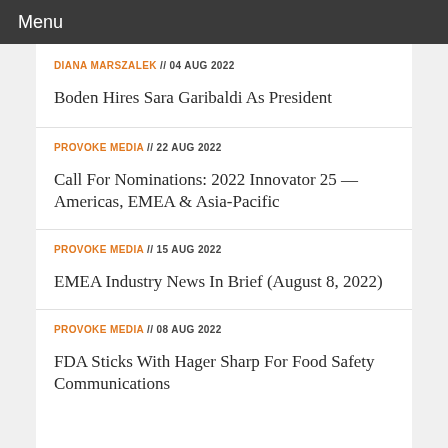Menu
DIANA MARSZALEK // 04 AUG 2022
Boden Hires Sara Garibaldi As President
PROVOKE MEDIA // 22 AUG 2022
Call For Nominations: 2022 Innovator 25 — Americas, EMEA & Asia-Pacific
PROVOKE MEDIA // 15 AUG 2022
EMEA Industry News In Brief (August 8, 2022)
PROVOKE MEDIA // 08 AUG 2022
FDA Sticks With Hager Sharp For Food Safety Communications